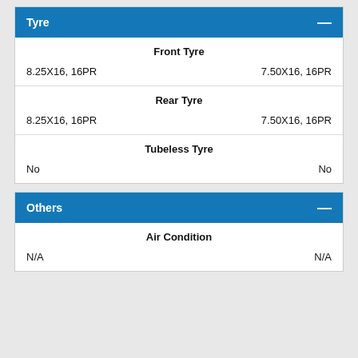| Tyre | Col1 | Col2 |
| --- | --- | --- |
| Front Tyre |  |  |
| 8.25X16, 16PR |  | 7.50X16, 16PR |
| Rear Tyre |  |  |
| 8.25X16, 16PR |  | 7.50X16, 16PR |
| Tubeless Tyre |  |  |
| No |  | No |
| Others | Col1 | Col2 |
| --- | --- | --- |
| Air Condition |  |  |
| N/A |  | N/A |